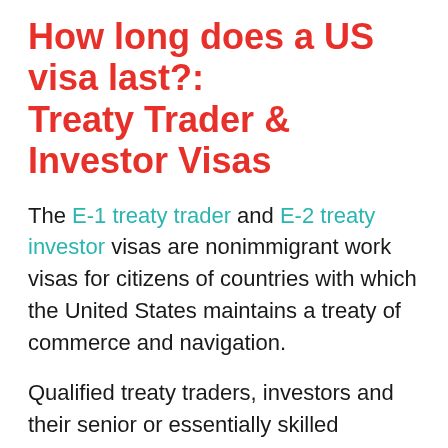How long does a US visa last?: Treaty Trader & Investor Visas
The E-1 treaty trader and E-2 treaty investor visas are nonimmigrant work visas for citizens of countries with which the United States maintains a treaty of commerce and navigation.
Qualified treaty traders, investors and their senior or essentially skilled employees will be allowed a maximum initial stay of two years. If you continue to meet all relevant conditions, in particular that you continue to work in the activity for which you were initially approved, you may request an extension.
An extension of stay may be granted in